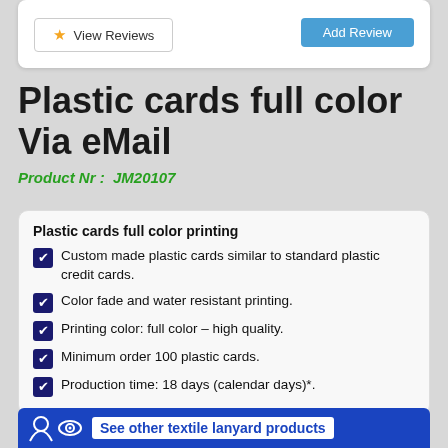View Reviews
Add Review
Plastic cards full color Via eMail
Product Nr :  JM20107
Plastic cards full color printing
Custom made plastic cards similar to standard plastic credit cards.
Color fade and water resistant printing.
Printing color: full color – high quality.
Minimum order 100 plastic cards.
Production time: 18 days (calendar days)*.
See other textile lanyard products